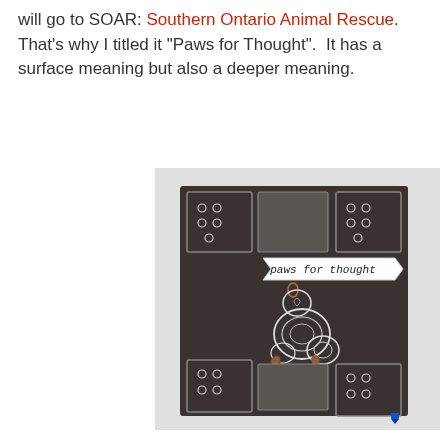will go to SOAR: Southern Ontario Animal Rescue.  That's why I titled it "Paws for Thought".  It has a surface meaning but also a deeper meaning.
[Figure (photo): A handmade quilled paper art card on a dark brown/charcoal background. The card features white quilled paper coils arranged to form a sitting cat or dog figure in the center. A banner in the upper-right area reads 'paws for thought' in script. The card has decorative squares/rectangles with paw print stamps in the corners at top and bottom. Brown quilled leaf/paw shapes appear at the bottom of the figure. A blue pen tip is visible at the bottom right corner.]